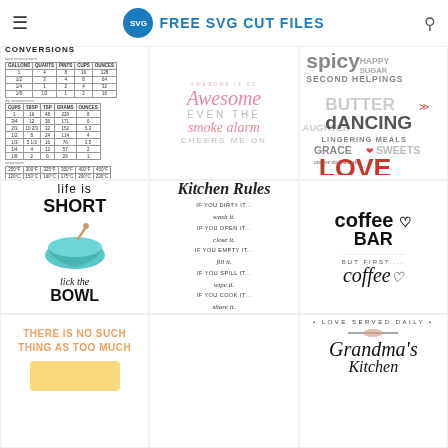FREE SVG CUT FILES
[Figure (illustration): Kitchen measurement conversions table SVG - liquid and dry measurement conversions including gallons, quarts, pints, cups, ounces, and temperature conversions]
[Figure (illustration): SVG text design: 'Awesome is so Awesome EVEN THE smoke alarm CHEERS ME ON' in pink script and gray uppercase letters]
[Figure (illustration): Word collage SVG with kitchen/home words: Spicy, Happy, Sugar, Second Helpings, Laughter, Butter, Dancing, Lingering Meals, Grace, Sweets, and we do it all with LOVE in red]
[Figure (illustration): SVG text design: 'life is SHORT lick the BOWL' with teal mixing bowl graphic]
[Figure (illustration): SVG Kitchen Rules text design: Kitchen Rules, IF YOU DIRTY IT...wash it, IF YOU OPEN IT...close it, IF YOU EMPTY IT...fill it, IF YOU SPILL IT...wipe it, IF YOU COOK IT...share it]
[Figure (illustration): Coffee bar SVG designs: 'coffee heart BAR' and 'BUT FIRST.... coffee heart']
[Figure (illustration): SVG text: 'THERE IS NO SUCH THING AS TOO MUCH' in orange/coral uppercase letters]
[Figure (illustration): SVG text: 'LOVE SERVED DAILY' with rolling pin graphic and 'Grandma's Kitchen' in script below]